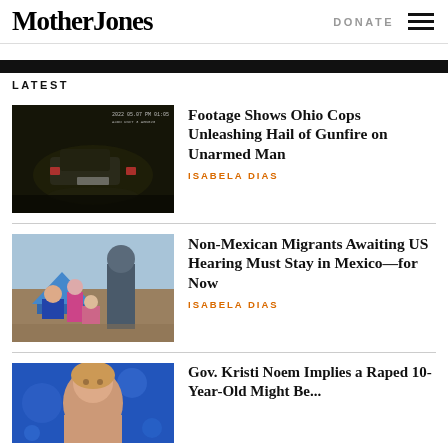Mother Jones | DONATE
LATEST
[Figure (photo): Dashcam footage showing a car at night, Ohio police shooting scene]
Footage Shows Ohio Cops Unleashing Hail of Gunfire on Unarmed Man
ISABELA DIAS
[Figure (photo): Migrants including families with children camping with tents, awaiting US hearing]
Non-Mexican Migrants Awaiting US Hearing Must Stay in Mexico—for Now
ISABELA DIAS
[Figure (photo): Gov. Kristi Noem speaking, blue background]
Gov. Kristi Noem Implies a Raped 10-Year-Old Might Be...